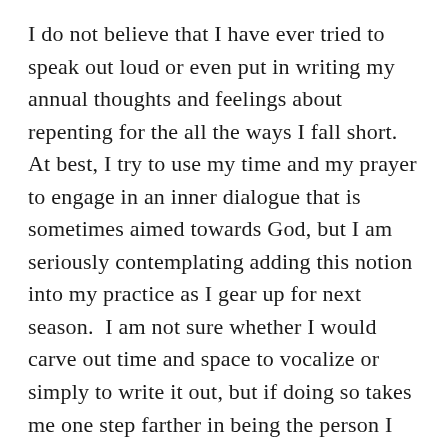I do not believe that I have ever tried to speak out loud or even put in writing my annual thoughts and feelings about repenting for the all the ways I fall short.  At best, I try to use my time and my prayer to engage in an inner dialogue that is sometimes aimed towards God, but I am seriously contemplating adding this notion into my practice as I gear up for next season.  I am not sure whether I would carve out time and space to vocalize or simply to write it out, but if doing so takes me one step farther in being the person I yearn to be rather than the normal, faltering half-steps I normally accomplish, I will have gained much more from this class than knowledge.